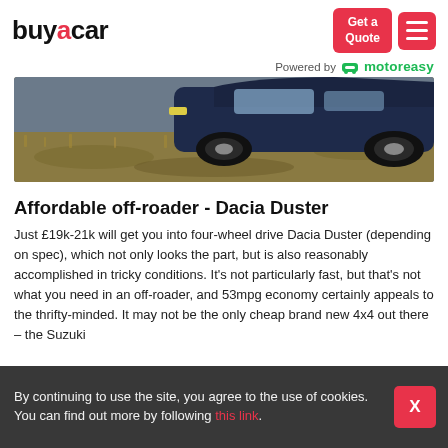buyacar | Get a Quote | hamburger menu | Powered by motoreasy
[Figure (photo): Partial view of a blue Dacia Duster SUV on rough terrain with dry grass and gravel]
Affordable off-roader - Dacia Duster
Just £19k-21k will get you into four-wheel drive Dacia Duster (depending on spec), which not only looks the part, but is also reasonably accomplished in tricky conditions. It's not particularly fast, but that's not what you need in an off-roader, and 53mpg economy certainly appeals to the thrifty-minded. It may not be the only cheap brand new 4x4 out there – the Suzuki
By continuing to use the site, you agree to the use of cookies. You can find out more by following this link.